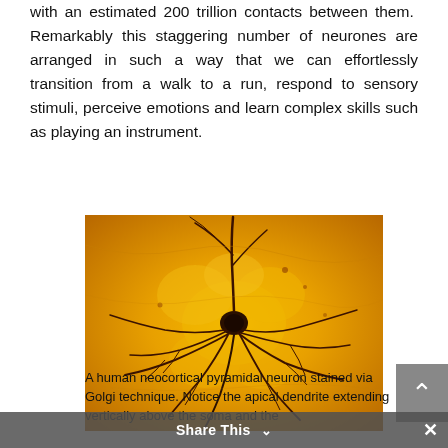with an estimated 200 trillion contacts between them. Remarkably this staggering number of neurones are arranged in such a way that we can effortlessly transition from a walk to a run, respond to sensory stimuli, perceive emotions and learn complex skills such as playing an instrument.
[Figure (photo): Microscopy image of a human neocortical pyramidal neuron stained via Golgi technique. The neuron appears dark brown/black against a bright orange/yellow background. The cell body (soma) is visible at center with multiple dendrites radiating outward, including a prominent apical dendrite extending vertically.]
A human neocortical pyramidal neuron stained via Golgi technique. Notice the apical dendrite extending vertically above the soma and the